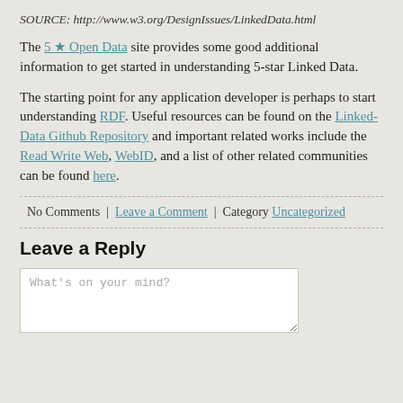SOURCE: http://www.w3.org/DesignIssues/LinkedData.html
The 5 ★ Open Data site provides some good additional information to get started in understanding 5-star Linked Data.
The starting point for any application developer is perhaps to start understanding RDF. Useful resources can be found on the Linked-Data Github Repository and important related works include the Read Write Web, WebID, and a list of other related communities can be found here.
No Comments | Leave a Comment | Category Uncategorized
Leave a Reply
What's on your mind?